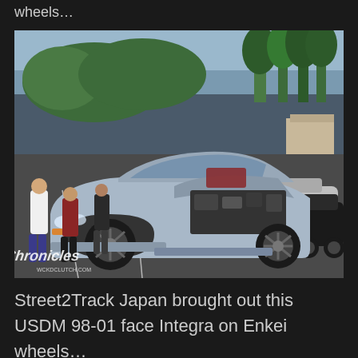wheels…
[Figure (photo): A silver Acura Integra (98-01 face) with hood open showing engine, sitting on black Enkei wheels at an outdoor car meet. Other JDM cars visible in background. Photo watermarked with 'CHRONICLES' logo in lower left corner.]
Street2Track Japan brought out this USDM 98-01 face Integra on Enkei wheels…